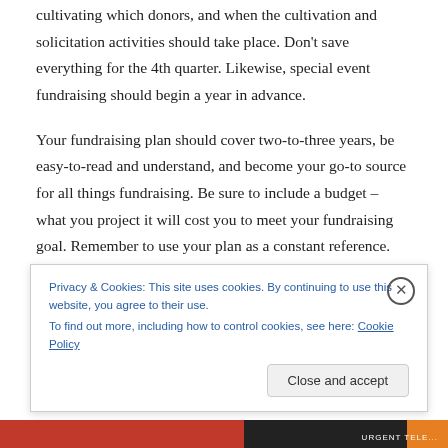cultivating which donors, and when the cultivation and solicitation activities should take place. Don't save everything for the 4th quarter. Likewise, special event fundraising should begin a year in advance.
Your fundraising plan should cover two-to-three years, be easy-to-read and understand, and become your go-to source for all things fundraising. Be sure to include a budget – what you project it will cost you to meet your fundraising goal. Remember to use your plan as a constant reference. Let it guide your progress and inform your adjustments.
Privacy & Cookies: This site uses cookies. By continuing to use this website, you agree to their use. To find out more, including how to control cookies, see here: Cookie Policy